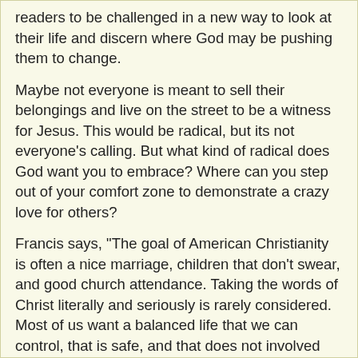readers to be challenged in a new way to look at their life and discern where God may be pushing them to change.
Maybe not everyone is meant to sell their belongings and live on the street to be a witness for Jesus. This would be radical, but its not everyone's calling. But what kind of radical does God want you to embrace? Where can you step out of your comfort zone to demonstrate a crazy love for others?
Francis says, "The goal of American Christianity is often a nice marriage, children that don't swear, and good church attendance. Taking the words of Christ literally and seriously is rarely considered. Most of us want a balanced life that we can control, that is safe, and that does not involved suffering."
I think Francis is right. Living in a country where we are not persecuted for our faith can lead us to be comfortable, to fit in with the Christian sub-culture, and to assume that "radical" is for other people. But reading this book, I'm challenged to confront my comfortable lifestyle and to critically ask the question, "How can I discern more radically of